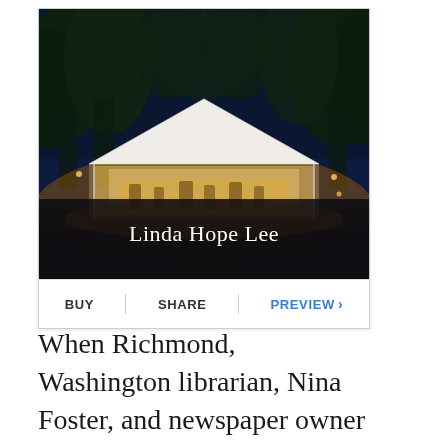[Figure (photo): Book cover for a novel by Linda Hope Lee, showing a large illuminated white tent at night surrounded by dark trees, with warm golden light glowing from inside the tent. The author's name 'Linda Hope Lee' is displayed in white serif text on the dark lower portion of the cover.]
BUY   SHARE   PREVIEW >
When Richmond, Washington librarian, Nina Foster, and newspaper owner